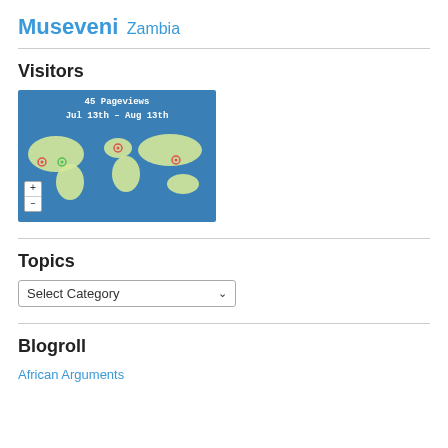Museveni Zambia
Visitors
[Figure (map): World map widget showing 45 Pageviews from Jul 13th - Aug 13th with colored location dots on a blue background map.]
Topics
Select Category
Blogroll
African Arguments